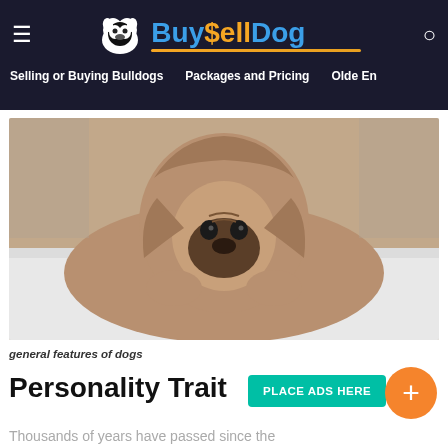Buy $ell Dog — Selling or Buying Bulldogs | Packages and Pricing | Olde En...
[Figure (photo): A pug dog wrapped in a beige blanket, sitting on a white bed, looking at the camera with a mournful expression.]
general features of dogs
Personality Trait
PLACE ADS HERE
Thousands of years have passed since the